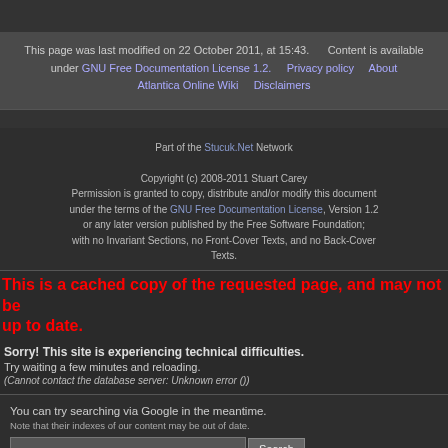This page was last modified on 22 October 2011, at 15:43. Content is available under GNU Free Documentation License 1.2. Privacy policy About Atlantica Online Wiki Disclaimers
Part of the Stucuk.Net Network
Copyright (c) 2008-2011 Stuart Carey
Permission is granted to copy, distribute and/or modify this document under the terms of the GNU Free Documentation License, Version 1.2 or any later version published by the Free Software Foundation; with no Invariant Sections, no Front-Cover Texts, and no Back-Cover Texts.
This is a cached copy of the requested page, and may not be up to date.
Sorry! This site is experiencing technical difficulties.
Try waiting a few minutes and reloading.
(Cannot contact the database server: Unknown error ())
You can try searching via Google in the meantime.
Note that their indexes of our content may be out of date.